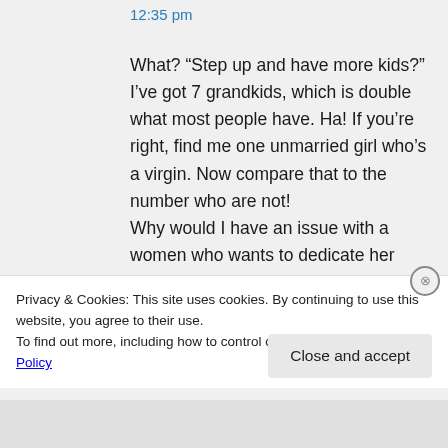12:35 pm
What? “Step up and have more kids?” I’ve got 7 grandkids, which is double what most people have. Ha! If you’re right, find me one unmarried girl who’s a virgin. Now compare that to the number who are not!
Why would I have an issue with a women who wants to dedicate her
Privacy & Cookies: This site uses cookies. By continuing to use this website, you agree to their use.
To find out more, including how to control cookies, see here: Cookie Policy
Close and accept